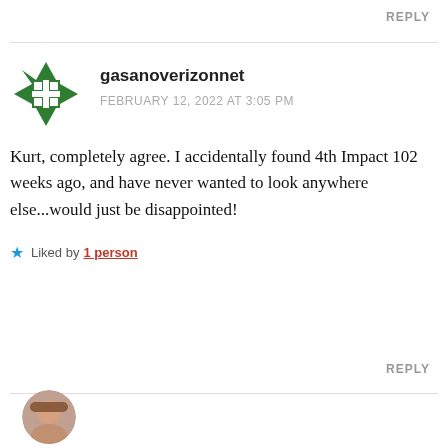REPLY
gasanoverizonnet
FEBRUARY 12, 2022 AT 3:05 PM
Kurt, completely agree. I accidentally found 4th Impact 102 weeks ago, and have never wanted to look anywhere else...would just be disappointed!
Liked by 1 person
REPLY